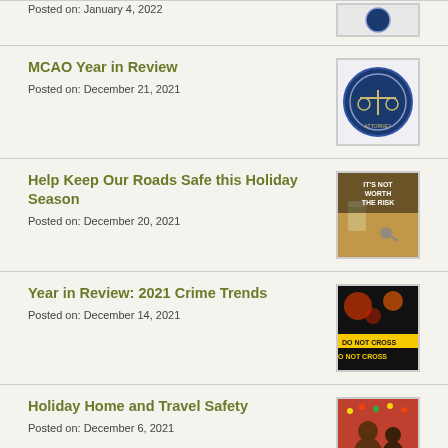Posted on: January 4, 2022
MCAO Year in Review
Posted on: December 21, 2021
Help Keep Our Roads Safe this Holiday Season
Posted on: December 20, 2021
Year in Review: 2021 Crime Trends
Posted on: December 14, 2021
Holiday Home and Travel Safety
Posted on: December 6, 2021
Help Prevent Road Rage Incidents by Driving Safely
Posted on: November 29, 2021